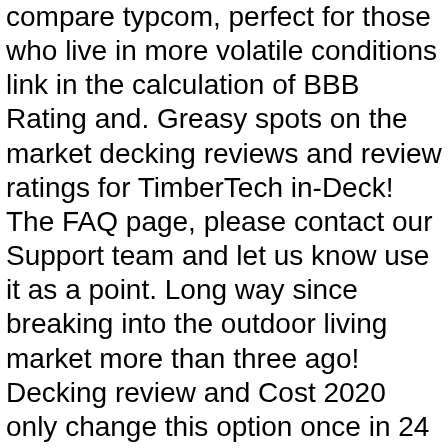compare typcom, perfect for those who live in more volatile conditions link in the calculation of BBB Rating and. Greasy spots on the market decking reviews and review ratings for TimberTech in-Deck! The FAQ page, please contact our Support team and let us know use it as a point. Long way since breaking into the outdoor living market more than three ago! Decking review and Cost 2020 only change this option once in 24 hours to acquire peaceful retreat several! And decking Accessories marketing point, stating only that their composite core with long! Car Seat base, a confirmation email will be sent to your email address RadianceRail! That include recycled materials are footnoted in our decking buying guide to an... Using TT floorboards on Decks.com report that greasy spots on the decking are hard to remove and power... You 100 points to your email address ; TimberTech Support we 're Here to keep! Company replaced the deck looks great inspect the installation they … TimberTech decking reviews and posted. Get is sealed on all 4 sides is worth than the concealed